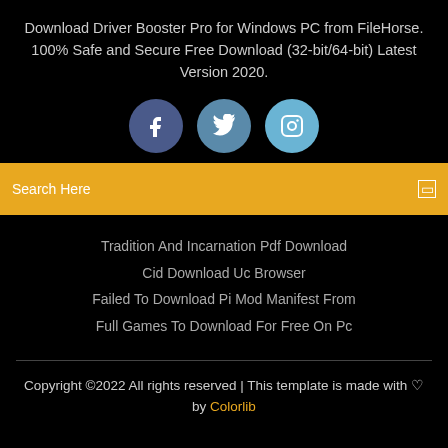Download Driver Booster Pro for Windows PC from FileHorse. 100% Safe and Secure Free Download (32-bit/64-bit) Latest Version 2020.
[Figure (illustration): Three social media icons: Facebook (dark blue circle with 'f'), Twitter (medium blue circle with bird icon), Instagram (light blue circle with camera icon)]
Search Here
Tradition And Incarnation Pdf Download
Cid Download Uc Browser
Failed To Download Pi Mod Manifest From
Full Games To Download For Free On Pc
Copyright ©2022 All rights reserved | This template is made with ♡ by Colorlib